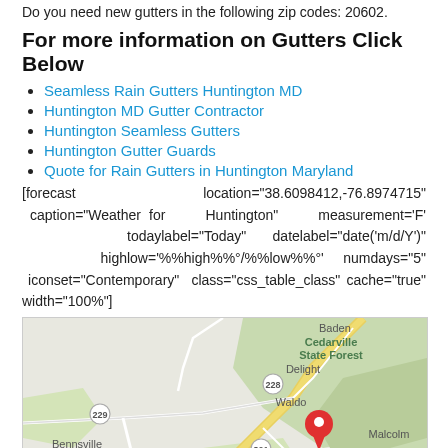Do you need new gutters in the following zip codes: 20602.
For more information on Gutters Click Below
Seamless Rain Gutters Huntington MD
Huntington MD Gutter Contractor
Huntington Seamless Gutters
Huntington Gutter Guards
Quote for Rain Gutters in Huntington Maryland
[forecast location="38.6098412,-76.8974715" caption="Weather for Huntington" measurement='F' todaylabel="Today" datelabel="date('m/d/Y')" highlow='%%high%%°/%%low%%°' numdays="5" iconset="Contemporary" class="css_table_class" cache="true" width="100%"]
[Figure (map): Google map showing Huntington MD area with surrounding locations: Cedarville State Forest, Delight, Waldo, Bennsville, St Charles, White Plains, Malcolm, Baden, route numbers 229, 228, 301, 227, and a red map pin marker.]